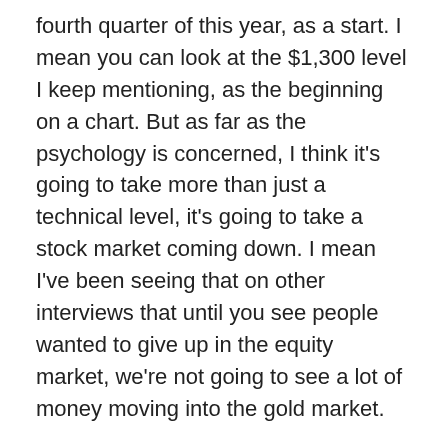fourth quarter of this year, as a start. I mean you can look at the $1,300 level I keep mentioning, as the beginning on a chart. But as far as the psychology is concerned, I think it's going to take more than just a technical level, it's going to take a stock market coming down. I mean I've been seeing that on other interviews that until you see people wanted to give up in the equity market, we're not going to see a lot of money moving into the gold market.
So, I think silver is the place to be from this 90 to 1 ratio. You don't have to jump in all at once, if it does go to 100, but certainly accumulate silver at these levels, you're buying it for less than most primary silver miners can produce it. You're getting it at a ratio that's a historic good value. This is a once in 26 year opportunity, we haven't had this high of level, gold-silver ratio for 26 years. And it usually doesn't stay here very long. So I think everything that we know, from past events, we obviously can't use to